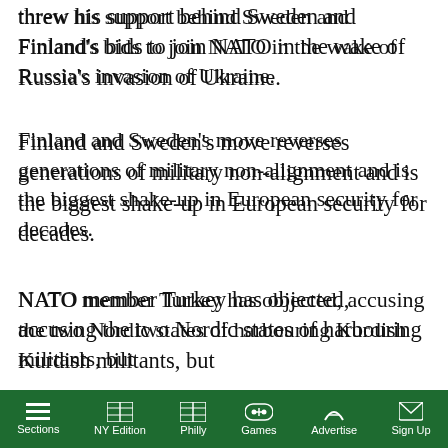threw his support behind Sweden and Finland's bids to join NATO in the wake of Russia's invasion of Ukraine.
Finland and Sweden's move reverses generations of military non-alignment and is the biggest shake-up in European security for decades.
NATO member Turkey has objected, accusing the two Nordic states of harbouring Kurdish militants, but they were confident [issues would be] resolved.
[Figure (screenshot): A video popup overlay showing 'Zelenskyy meets IAEA delegation in...' with an AP video thumbnail of Zelenskyy in an ornate room, with a mute button icon and loading spinner visible. Text on video reads 'ZELENSKYY MEETS IAEA DELEGATION IN'.]
...inister Magdalena
Sections   NY Edition   Philly   Games   Advertise   Sign Up